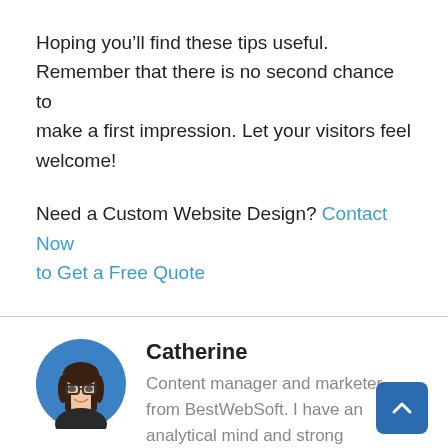Hoping you’ll find these tips useful. Remember that there is no second chance to make a first impression. Let your visitors feel welcome!
Need a Custom Website Design? Contact Now to Get a Free Quote
[Figure (illustration): Circular avatar illustration of Catherine, a woman with dark hair and glasses, on a blue background circle]
Catherine
Content manager and marketer from BestWebSoft. I have an analytical mind and strong understanding of the industry.